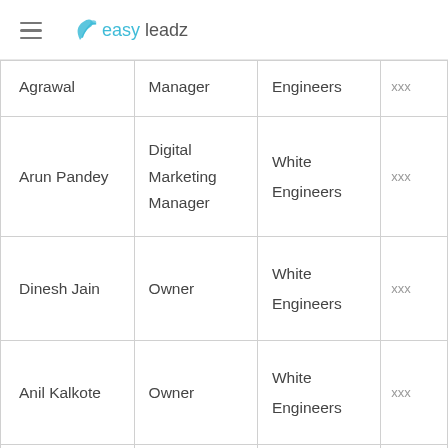easy leadz
| Name | Title | Company | Contact |
| --- | --- | --- | --- |
| Agrawal | Manager | Engineers | xxx |
| Arun Pandey | Digital Marketing Manager | White Engineers | xxx |
| Dinesh Jain | Owner | White Engineers | xxx |
| Anil Kalkote | Owner | White Engineers | xxx |
| Sanjeev Rajput | Business Owner | White Engineers | xxx |